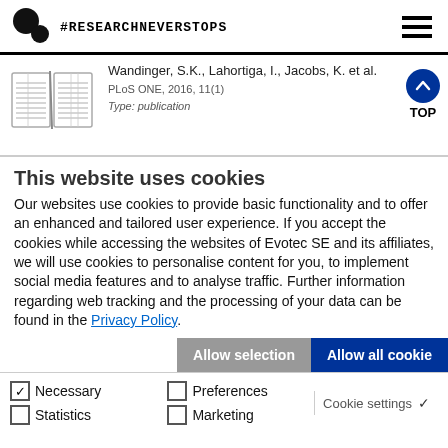#RESEARCHNEVERSTOPS
Wandinger, S.K., Lahortiga, I., Jacobs, K. et al.
PLoS ONE, 2016, 11(1)
Type: publication
This website uses cookies
Our websites use cookies to provide basic functionality and to offer an enhanced and tailored user experience. If you accept the cookies while accessing the websites of Evotec SE and its affiliates, we will use cookies to personalise content for you, to implement social media features and to analyse traffic. Further information regarding web tracking and the processing of your data can be found in the Privacy Policy.
Allow selection  Allow all cookies
☑ Necessary  □ Preferences  □ Statistics  □ Marketing  Cookie settings